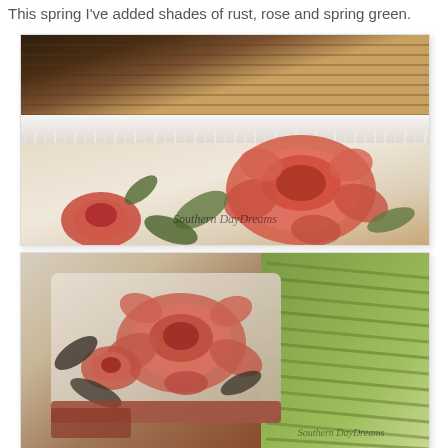This spring I've added shades of rust, rose and spring green.
[Figure (photo): Close-up of a floral tapestry/fabric with large rose pattern in rust and pink tones, with white fringe trim at top. Watermark reads 'Southern DayDreams'.]
[Figure (photo): Close-up of a decorative pillow with floral pattern in rose and rust colors, next to a green chenille or textured throw. Watermark reads 'Southern DayDreams'.]